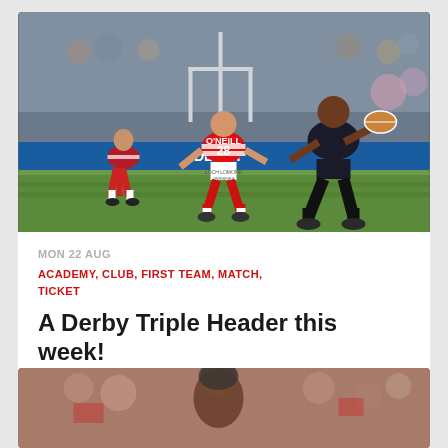[Figure (photo): Rugby league match photo: player in dark kit carrying ball running past two Wigan Warriors players in red/white hooped shirts (one numbered O'NEILL 28) on a grass pitch with crowd in background]
MON 22 AUG
ACADEMY, CLUB, FIRST TEAM, MATCH, TICKET
A Derby Triple Header this week!
[Figure (photo): Partially visible second article photo showing crowd scene at a sports event]